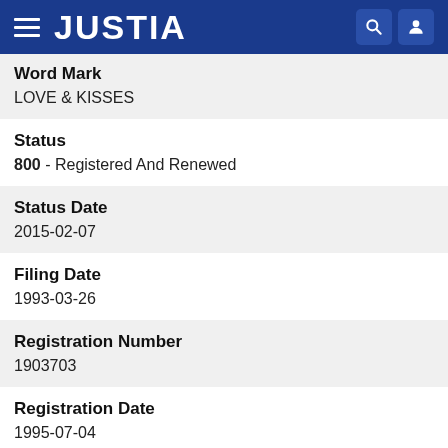JUSTIA
Word Mark
LOVE & KISSES
Status
800 - Registered And Renewed
Status Date
2015-02-07
Filing Date
1993-03-26
Registration Number
1903703
Registration Date
1995-07-04